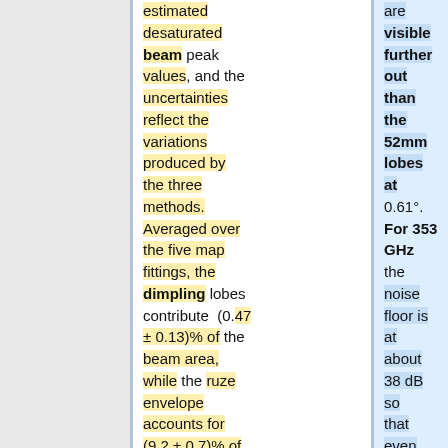estimated desaturated beam peak values, and the uncertainties reflect the variations produced by the three methods. Averaged over the five map fittings, the dimpling lobes contribute (0.47 ± 0.13)% of the beam area, while the ruze envelope accounts for (9.2 ± 0.7)% of the beam with the main beam
are visible further out than the 52mm lobes at 0.61°. For 353 GHz the noise floor is at about 38 dB so that even the 52-mm lobes are not observed.